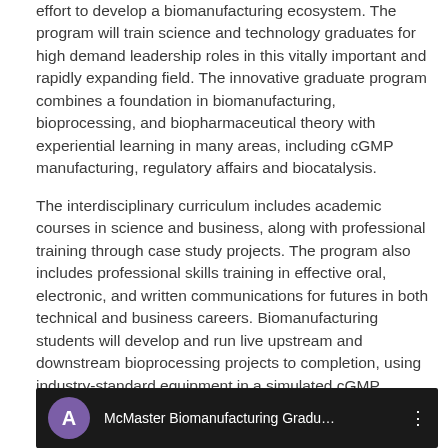effort to develop a biomanufacturing ecosystem. The program will train science and technology graduates for high demand leadership roles in this vitally important and rapidly expanding field. The innovative graduate program combines a foundation in biomanufacturing, bioprocessing, and biopharmaceutical theory with experiential learning in many areas, including cGMP manufacturing, regulatory affairs and biocatalysis.
The interdisciplinary curriculum includes academic courses in science and business, along with professional training through case study projects. The program also includes professional skills training in effective oral, electronic, and written communications for futures in both technical and business careers. Biomanufacturing students will develop and run live upstream and downstream bioprocessing projects to completion, using industry-standard equipment in a simulated cGMP environment. These projects will provide an insight in advanced cell therapeutics, novel vaccine design and large-scale production, as well as in the standardization of biomanufacturing processes.
[Figure (screenshot): Video thumbnail showing a person in a lab setting with a purple circle avatar showing letter A and the title 'McMaster Biomanufacturing Gradu...' on a dark background with a vertical dots menu icon.]